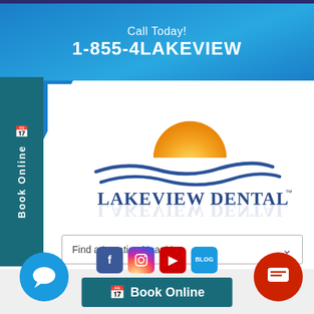Call Today! 1-855-4LAKEVIEW
[Figure (logo): Lakeview Dental Care logo with golden sun arc above blue wave swoosh]
Find a Location Near You
[Figure (infographic): Bottom bar with social media icons (Facebook, Instagram, YouTube, Blog), Book Online button, and chat bubble icons on left and right]
Book Online